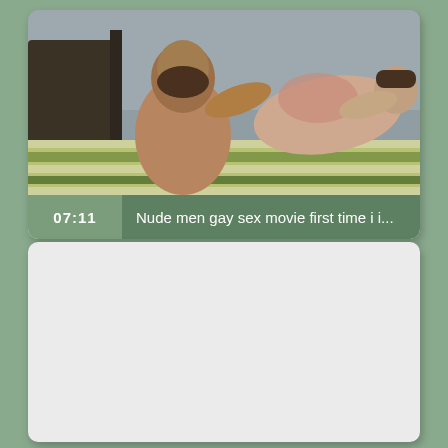[Figure (screenshot): Video thumbnail card showing two people on a striped bed with a green and white overlay bar showing timestamp 07:11 and title 'Nude men gay sex movie first time i i...']
[Figure (screenshot): Second video card placeholder, light gray, no thumbnail loaded]